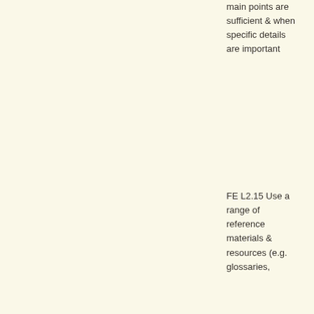main points are sufficient & when specific details are important
FE L2.15 Use a range of reference materials & resources (e.g. glossaries,